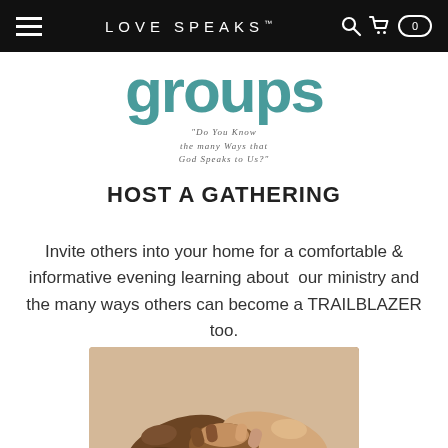LOVE SPEAKS
[Figure (illustration): Partially visible large teal 'groups' text with subtitle: 'Do You Know the many Ways that God Speaks to Us?']
HOST A GATHERING
Invite others into your home for a comfortable & informative evening learning about our ministry and the many ways others can become a TRAILBLAZER too.
[Figure (photo): Two hands shaking — one darker-skinned hand and one lighter-skinned hand clasped together in a handshake.]